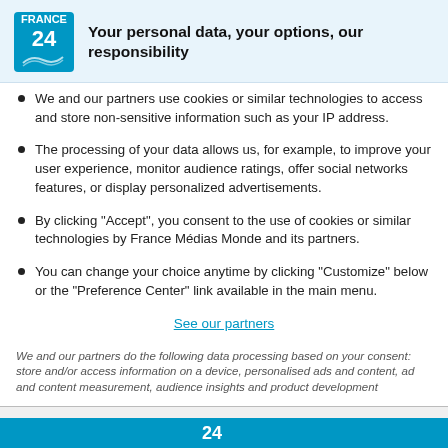Your personal data, your options, our responsibility
We and our partners use cookies or similar technologies to access and store non-sensitive information such as your IP address.
The processing of your data allows us, for example, to improve your user experience, monitor audience ratings, offer social networks features, or display personalized advertisements.
By clicking "Accept", you consent to the use of cookies or similar technologies by France Médias Monde and its partners.
You can change your choice anytime by clicking "Customize" below or the "Preference Center" link available in the main menu.
See our partners
We and our partners do the following data processing based on your consent:  store and/or access information on a device, personalised ads and content, ad and content measurement, audience insights and product development